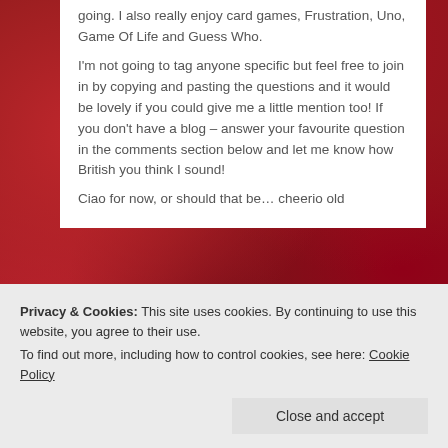going. I also really enjoy card games, Frustration, Uno, Game Of Life and Guess Who.
I'm not going to tag anyone specific but feel free to join in by copying and pasting the questions and it would be lovely if you could give me a little mention too! If you don't have a blog – answer your favourite question in the comments section below and let me know how British you think I sound!
Ciao for now, or should that be… cheerio old
Privacy & Cookies: This site uses cookies. By continuing to use this website, you agree to their use.
To find out more, including how to control cookies, see here: Cookie Policy